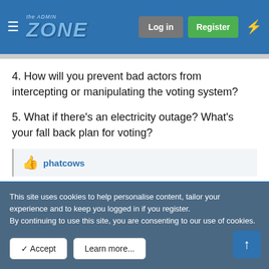the ADMIN ZONE | Log in | Register
4. How will you prevent bad actors from intercepting or manipulating the voting system?
5. What if there's an electricity outage? What's your fall back plan for voting?
👍 phatcows
Feb 14, 2019  #64
Anton Chigurh
This site uses cookies to help personalise content, tailor your experience and to keep you logged in if you register.
By continuing to use this site, you are consenting to our use of cookies.